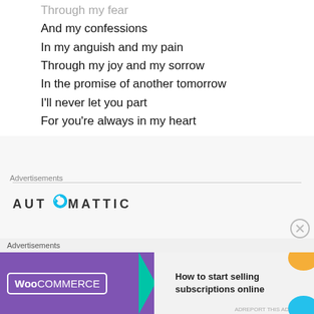Through my fear
And my confessions
In my anguish and my pain
Through my joy and my sorrow
In the promise of another tomorrow
I'll never let you part
For you're always in my heart
Advertisements
[Figure (logo): AUTOMATTIC logo with stylized O containing a circular arrow icon]
Build a better web
Advertisements
[Figure (infographic): WooCommerce banner advertisement: purple background with WooCommerce logo, arrow graphic, and text 'How to start selling subscriptions online' with orange and teal decorative shapes]